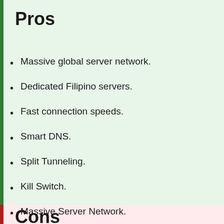Pros
Massive global server network.
Dedicated Filipino servers.
Fast connection speeds.
Smart DNS.
Split Tunneling.
Kill Switch.
Massive Server Network.
Cons